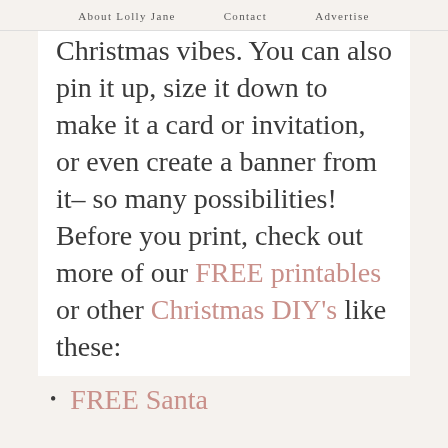About Lolly Jane   Contact   Advertise
Christmas vibes. You can also pin it up, size it down to make it a card or invitation, or even create a banner from it– so many possibilities! Before you print, check out more of our FREE printables or other Christmas DIY's like these:
FREE Santa